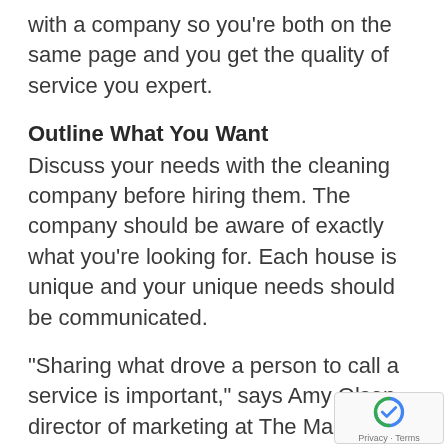with a company so you're both on the same page and you get the quality of service you expert.
Outline What You Want
Discuss your needs with the cleaning company before hiring them. The company should be aware of exactly what you're looking for. Each house is unique and your unique needs should be communicated.
“Sharing what drove a person to call a service is important,” says Amy Olson, director of marketing at The Maids International. Why do you need the help? Communicate how often you’ll need to utilize the cleaning service upfront. “For instance, is the consumer looking for a one-time clean to prepare for guests or a
[Figure (other): reCAPTCHA badge with Privacy and Terms text]